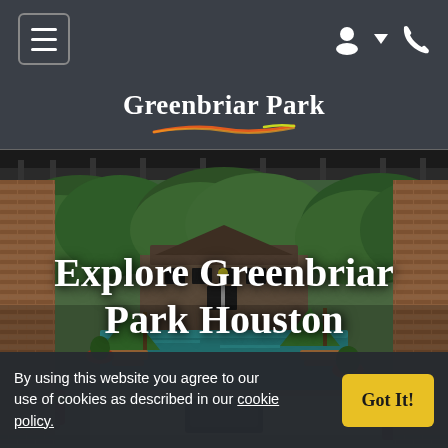Navigation bar with hamburger menu and icons
Greenbriar Park
[Figure (photo): Outdoor pool and patio area of Greenbriar Park Houston apartment complex, with brick columns, lounge chairs, green umbrellas, and lush trees in the background]
Explore Greenbriar Park Houston
By using this website you agree to our use of cookies as described in our cookie policy.